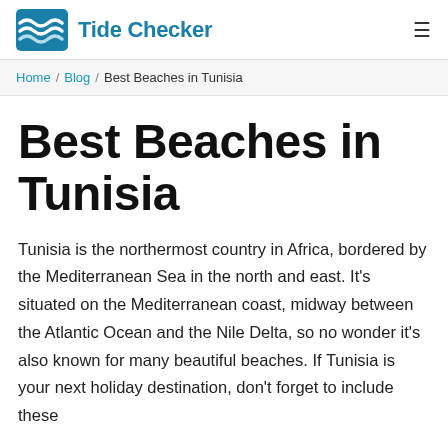Tide Checker
Home / Blog / Best Beaches in Tunisia
Best Beaches in Tunisia
Tunisia is the northermost country in Africa, bordered by the Mediterranean Sea in the north and east. It's situated on the Mediterranean coast, midway between the Atlantic Ocean and the Nile Delta, so no wonder it's also known for many beautiful beaches. If Tunisia is your next holiday destination, don't forget to include these